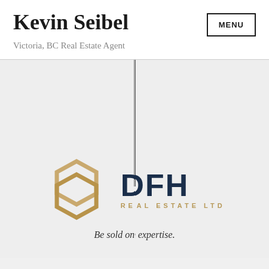Kevin Seibel
Victoria, BC Real Estate Agent
[Figure (logo): DFH Real Estate Ltd logo with golden geometric hexagon icon and dark navy DFH text]
Be sold on expertise.